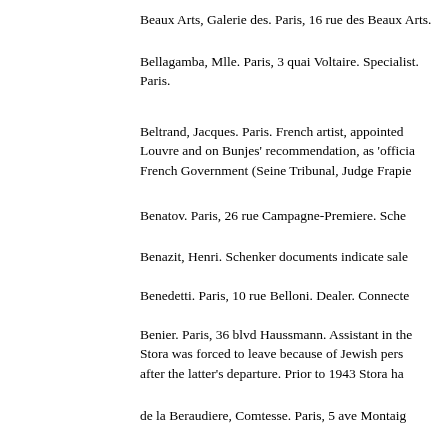Beaux Arts, Galerie des. Paris, 16 rue des Beaux Arts.
Bellagamba, Mlle. Paris, 3 quai Voltaire. Specialist. Paris.
Beltrand, Jacques. Paris. French artist, appointed Louvre and on Bunjes' recommendation, as 'official French Government (Seine Tribunal, Judge Frapie
Benatov. Paris, 26 rue Campagne-Premiere. Sche
Benazit, Henri. Schenker documents indicate sale
Benedetti. Paris, 10 rue Belloni. Dealer. Connecte
Benier. Paris, 36 blvd Haussmann. Assistant in the Stora was forced to leave because of Jewish pers after the latter's departure. Prior to 1943 Stora ha
de la Beraudiere, Comtesse. Paris, 5 ave Montaig and Bornheim. Would accept only cash in payment pictures for her in Paris in past years. On 4 April 1 Bornheim for FF 2,250,000.
Bernard, Mme. Paris, 15 quai Bourbon. Widow of sold other objects on commission. Sold to Bornhe
Bernard, Jacques. Paris, 12 rue Montolivet. Schen
Bernheim Jeune. Paris, 3 rue Dosne. Well-known Germans. It is reported that two million French fra Bernheim to Switzerland in 1944 through the Jan